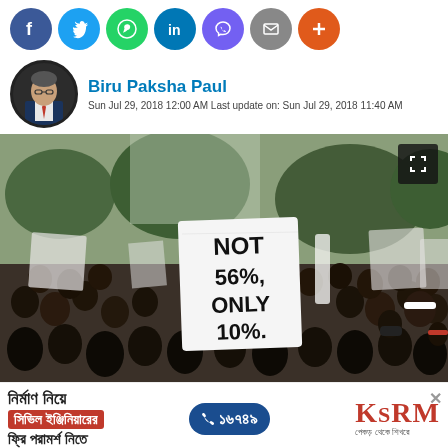[Figure (other): Social media sharing icons row: Facebook (blue), Twitter (light blue), WhatsApp (green), LinkedIn (blue), Viber (purple), Email (gray), More/Plus (orange)]
Biru Paksha Paul
Sun Jul 29, 2018 12:00 AM Last update on: Sun Jul 29, 2018 11:40 AM
[Figure (photo): Protest crowd photo. A large crowd of people holding signs. A prominent white sign in the center reads 'NOT 56%, ONLY 10%'. People are densely packed. An expand/fullscreen button icon is visible in the top-right corner of the image.]
[Figure (infographic): Advertisement banner for KSRM construction company. Bengali text reads: নির্মাণ নিয়ে (About construction), সিভিল ইঞ্জিনিয়ারের (Civil engineer's), ফ্রি পরামর্শ নিতে (Get free consultation). Phone number: 16749. Logo: KSRM with tagline in Bengali.]